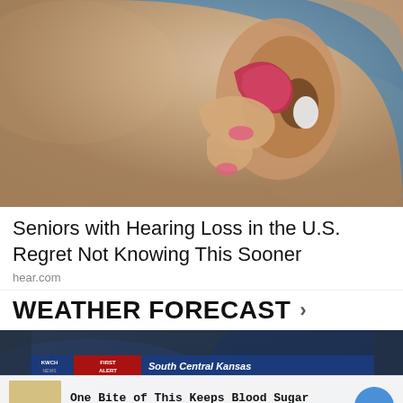[Figure (photo): Close-up photo of a person inserting a small hearing aid into their ear, fingers with pink nail polish holding the device]
Seniors with Hearing Loss in the U.S. Regret Not Knowing This Sooner
hear.com
WEATHER FORECAST
[Figure (screenshot): Weather forecast video thumbnail showing KWCH First Alert South Central Kansas broadcast]
One Bite of This Keeps Blood Sugar Below 100 (Try Tonight)